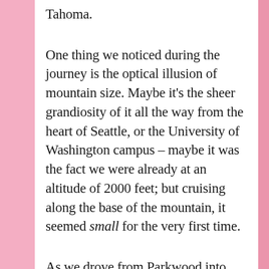Tahoma.
One thing we noticed during the journey is the optical illusion of mountain size. Maybe it's the sheer grandiosity of it all the way from the heart of Seattle, or the University of Washington campus – maybe it was the fact we were already at an altitude of 2000 feet; but cruising along the base of the mountain, it seemed small for the very first time.
As we drove from Parkwood into Randle and Naches, Tahoma felt like a mountain out of Alice and Wonderland – eating this and drinking that, growing larger around one curve